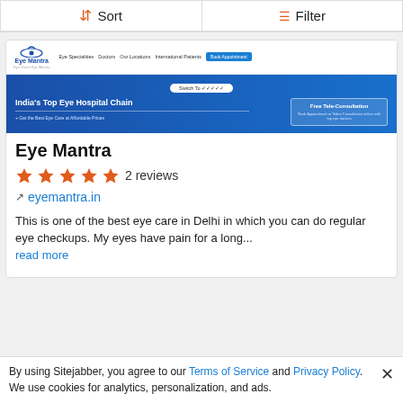Sort | Filter
[Figure (screenshot): Eye Mantra website screenshot showing the homepage with navigation links (Eye Specialities, Doctors, Our Locations, International Patients, Book Appointment) and a banner reading 'India's Top Eye Hospital Chain' with a 'Free Tele-Consultation' box]
Eye Mantra
5 stars · 2 reviews
eyemantra.in
This is one of the best eye care in Delhi in which you can do regular eye checkups. My eyes have pain for a long... read more
By using Sitejabber, you agree to our Terms of Service and Privacy Policy. We use cookies for analytics, personalization, and ads.